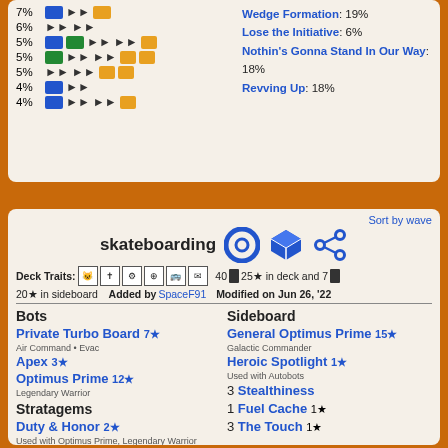7%
6%
5%
5%
5%
4%
4%
Wedge Formation: 19%
Lose the Initiative: 6%
Nothin's Gonna Stand In Our Way: 18%
Revving Up: 18%
Sort by wave
skateboarding
Deck Traits: [icons] 40 25★ in deck and 7 20★ in sideboard   Added by SpaceF91   Modified on Jun 26, '22
Bots
Private Turbo Board 7★
Air Command • Evac
Apex 3★
Optimus Prime 12★
Legendary Warrior
Stratagems
Duty & Honor 2★
Used with Optimus Prime, Legendary Warrior
Stuck On You 1★
Used with All Characters
Sideboard
General Optimus Prime 15★
Galactic Commander
Heroic Spotlight 1★
Used with Autobots
3 Stealthiness
1 Fuel Cache 1★
3 The Touch 1★
Actions
Upgrades